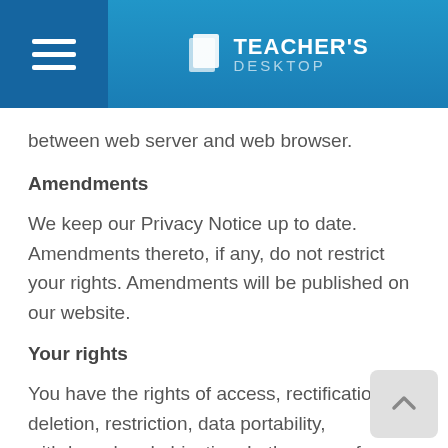Teacher's Desktop
between web server and web browser.
Amendments
We keep our Privacy Notice up to date. Amendments thereto, if any, do not restrict your rights. Amendments will be published on our website.
Your rights
You have the rights of access, rectification, deletion, restriction, data portability, withdrawal and objection. In the case of withdrawal or objection, the website can no longer be